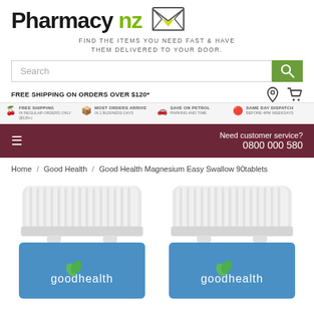[Figure (logo): Pharmacy NZ logo with envelope icon]
FIND THE ITEMS YOU NEED FAST & HAVE THEM DELIVERED TO YOUR DOOR.
Search
FREE SHIPPING ON ORDERS OVER $120*
FREE SHIPPING
In regular orders only ($120+)
MOST ORDERS ARRIVE
IN 2 BUSINESS DAYS
SAVE ON PETROL
PARKING AND TIME
SAME DAY DISPATCH
BEFORE 4PM WEEKDAYS
Need customer service?
0800 000 580
Home / Good Health / Good Health Magnesium Easy Swallow 90tablets
[Figure (photo): Two white bottles of Good Health branded supplements with blue labels showing 'goodhealth' logo with leaf icon]